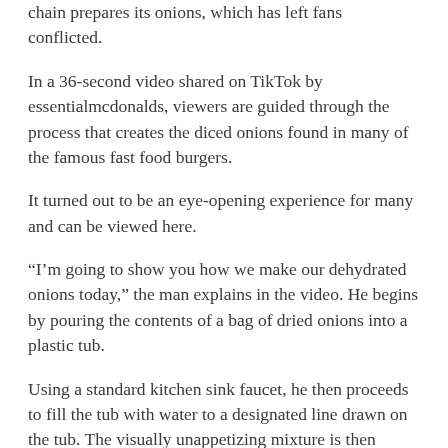chain prepares its onions, which has left fans conflicted.
In a 36-second video shared on TikTok by essentialmcdonalds, viewers are guided through the process that creates the diced onions found in many of the famous fast food burgers.
It turned out to be an eye-opening experience for many and can be viewed here.
“I’m going to show you how we make our dehydrated onions today,” the man explains in the video. He begins by pouring the contents of a bag of dried onions into a plastic tub.
Using a standard kitchen sink faucet, he then proceeds to fill the tub with water to a designated line drawn on the tub. The visually unappetizing mixture is then displayed on screen with small pieces of onion floating around the top of the filled tub. “Then you put a lid on it and put it in the fridge,” the man in the video explains.
According to the alleged McDonald’s employee, “it usually takes two hours in the fridge” before the onions are ready. At this point, the